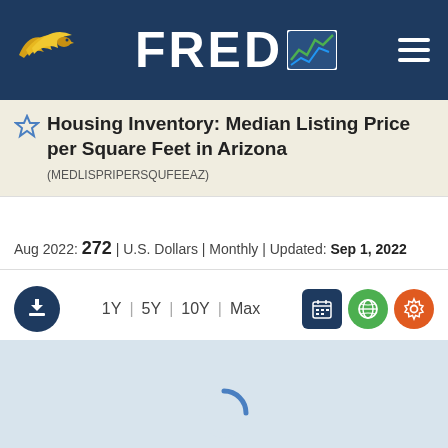FRED - Federal Reserve Economic Data
Housing Inventory: Median Listing Price per Square Feet in Arizona (MEDLISPRIPERSQUFEEAZ)
Aug 2022: 272 | U.S. Dollars | Monthly | Updated: Sep 1, 2022
[Figure (screenshot): Control bar with download button, time range selectors (1Y, 5Y, 10Y, Max), calendar icon, globe icon, and settings gear icon]
[Figure (screenshot): Light blue chart loading area with a spinning loading indicator at bottom center]